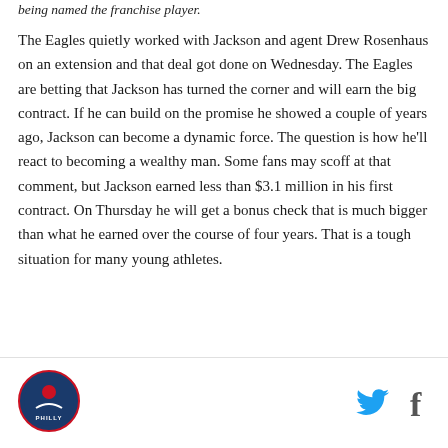being named the franchise player.
The Eagles quietly worked with Jackson and agent Drew Rosenhaus on an extension and that deal got done on Wednesday. The Eagles are betting that Jackson has turned the corner and will earn the big contract. If he can build on the promise he showed a couple of years ago, Jackson can become a dynamic force. The question is how he'll react to becoming a wealthy man. Some fans may scoff at that comment, but Jackson earned less than $3.1 million in his first contract. On Thursday he will get a bonus check that is much bigger than what he earned over the course of four years. That is a tough situation for many young athletes.
[Figure (logo): Philly sports network circular logo]